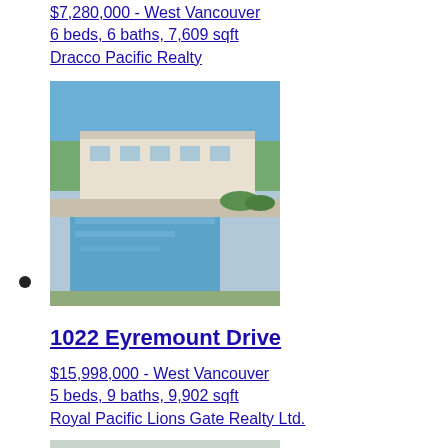$7,280,000 - West Vancouver
6 beds, 6 baths, 7,609 sqft
Dracco Pacific Realty
[Figure (photo): Aerial view of luxury home with infinity pool and landscaped grounds in West Vancouver]
1022 Eyremount Drive
$15,998,000 - West Vancouver
5 beds, 9 baths, 9,902 sqft
Royal Pacific Lions Gate Realty Ltd.
[Figure (photo): Front exterior view of modern luxury home with white facade in West Vancouver]